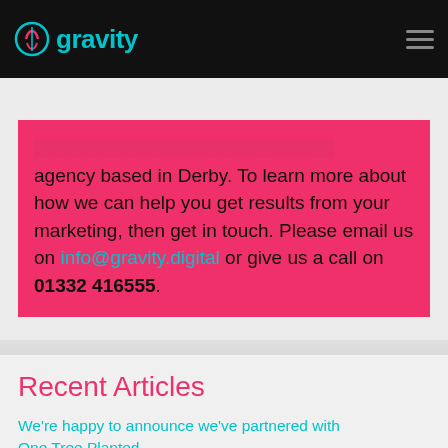gravity
We are a no-nonsense digital marketing agency based in Derby. To learn more about how we can help you get results from your marketing, then get in touch. Please email us on info@gravity.digital or give us a call on 01332 416555.
Recent Articles
We're happy to announce we've partnered with One Tree Planted.